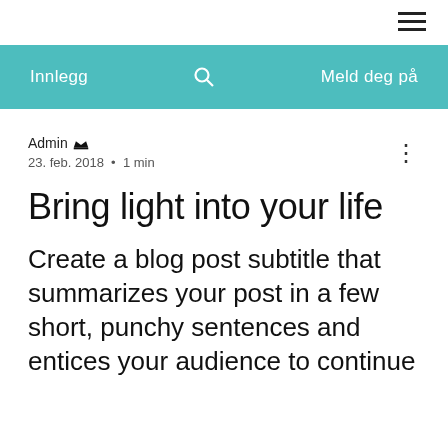≡
Innlegg   🔍   Meld deg på
Admin 👑
23. feb. 2018 · 1 min
Bring light into your life
Create a blog post subtitle that summarizes your post in a few short, punchy sentences and entices your audience to continue